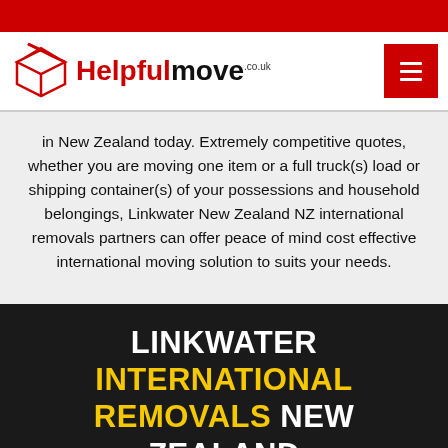[Figure (logo): HelpfulMove.co.uk logo with red open-box icon and text]
in New Zealand today. Extremely competitive quotes, whether you are moving one item or a full truck(s) load or shipping container(s) of your possessions and household belongings, Linkwater New Zealand NZ international removals partners can offer peace of mind cost effective international moving solution to suits your needs.
LINKWATER INTERNATIONAL REMOVALS NEW ZEALAND
[Figure (logo): Red open box/gift icon on gray circle background]